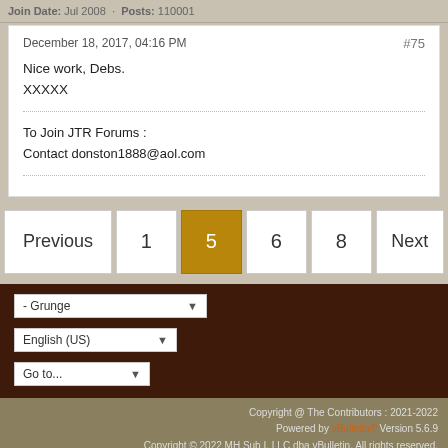Join Date: Jul 2008 · Posts: 110001
December 18, 2017, 04:16 PM
#75

Nice work, Debs.
XXXXX
To Join JTR Forums :
Contact donston1888@aol.com
Previous  1  5  6  8  Next
- Grunge
English (US)
Go to...
Copyright @ The Contributors : 2021-2022
Powered by vBulletin® Version 5.6.9
Copyright © 2022 MH Sub I, LLC dba vBulletin. All rights reserved.
All times are GMT-5. This page was generated at 12:29 AM.